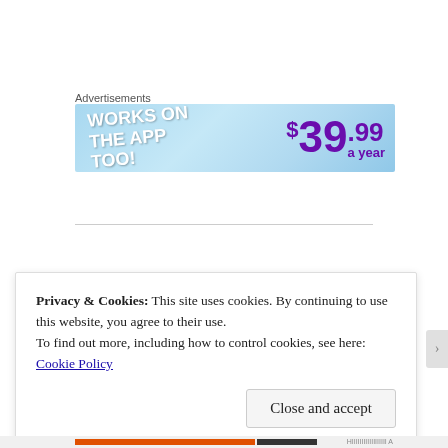Advertisements
[Figure (illustration): Advertisement banner with light blue sky background. Left side shows white bold text 'WORKS ON THE APP TOO!' at a slight angle. Right side shows large purple bold price text '$39.99 a year'.]
Privacy & Cookies: This site uses cookies. By continuing to use this website, you agree to their use.
To find out more, including how to control cookies, see here: Cookie Policy
Close and accept